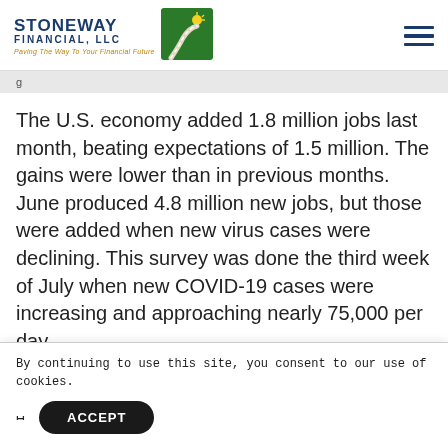STONEWAY FINANCIAL, LLC — Paving The Way To Your Financial Future
The U.S. economy added 1.8 million jobs last month, beating expectations of 1.5 million. The gains were lower than in previous months. June produced 4.8 million new jobs, but those were added when new virus cases were declining. This survey was done the third week of July when new COVID-19 cases were increasing and approaching nearly 75,000 per day.
By continuing to use this site, you consent to our use of cookies.